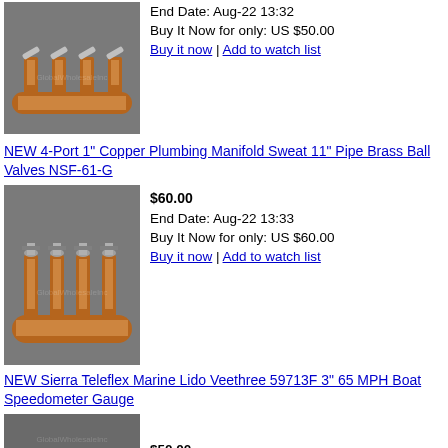[Figure (photo): Copper plumbing manifold with 4 brass ball valves, top view, grey background, GlobalWholesaleInc watermark]
End Date: Aug-22 13:32
Buy It Now for only: US $50.00
Buy it now | Add to watch list
NEW 4-Port 1" Copper Plumbing Manifold Sweat 11" Pipe Brass Ball Valves NSF-61-G
[Figure (photo): Copper plumbing manifold with 4 brass ball valves, side view, grey background, GlobalWholesaleInc watermark]
$60.00
End Date: Aug-22 13:33
Buy It Now for only: US $60.00
Buy it now | Add to watch list
NEW Sierra Teleflex Marine Lido Veethree 59713F 3" 65 MPH Boat Speedometer Gauge
[Figure (photo): Partial view of a grey/dark item, bottom of page, GlobalWholesaleInc watermark]
$50.00